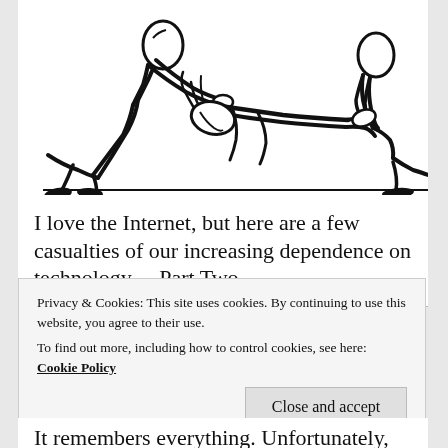[Figure (illustration): Black and white line drawing of two figures dragging a limp person along the ground, one pulling from the arms on the left, one pulling from the legs on the right.]
I love the Internet, but here are a few casualties of our increasing dependence on technology— Part Two.
Privacy & Cookies: This site uses cookies. By continuing to use this website, you agree to their use.
To find out more, including how to control cookies, see here: Cookie Policy
It remembers everything. Unfortunately, because of